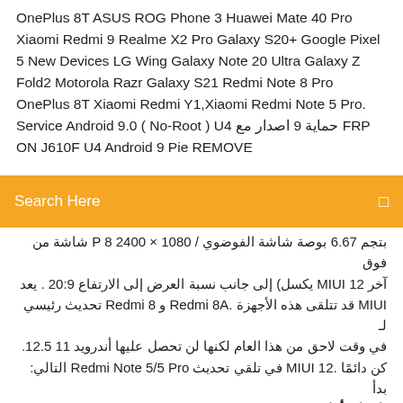OnePlus 8T ASUS ROG Phone 3 Huawei Mate 40 Pro Xiaomi Redmi 9 Realme X2 Pro Galaxy S20+ Google Pixel 5 New Devices LG Wing Galaxy Note 20 Ultra Galaxy Z Fold2 Motorola Razr Galaxy S21 Redmi Note 8 Pro OnePlus 8T Xiaomi Redmi Y1,Xiaomi Redmi Note 5 Pro. Service Android 9.0 ( No-Root ) حماية 9 اصدار مع U4 FRP ON J610F U4 Android 9 Pie REMOVE
Search Here
بتجم 6.67 بوصة شاشة الفوضوي / 1080 × 2400 P 8 شاشة من فوق آخر MIUI 12 يكسل) إلى جانب نسبة العرض إلى الارتفاع 20:9 . يعد MIUI قد تتلقى هذه الأجهزة .Redmi 8A و Redmi 8 تحديث رئيسي لـ في وقت لاحق من هذا العام لكنها لن تحصل عليها أندرويد 11 12.5. كن دائمًا .MIUI 12 في تلقي تحديث Redmi Note 5/5 Pro التالي: بدأ تابعنا – أول من يعرف! OnePlus 8T ASUS ROG Phone 3 Huawei Mate 40 Pro Xiaomi Redmi 9 Realme X2 Pro Galaxy S20+ Google Pixel 5 New Devices LG Wing Galaxy Note 20 Ultra Galaxy Z Fold2 Motorola Razr Galaxy S21 Redmi Note 8 Pro OnePlus 8T Xiaomi Redmi Note 5 Pro Android P 9.0 Firmware